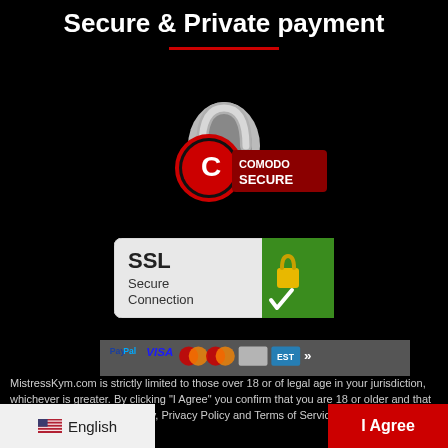Secure & Private payment
[Figure (logo): Comodo Secure badge with padlock icon and red C logo]
[Figure (logo): SSL Secure Connection badge with green background and gold padlock with checkmark]
[Figure (infographic): Payment icons bar showing PayPal, VISA, Mastercard and other payment methods]
MistressKym.com is strictly limited to those over 18 or of legal age in your jurisdiction, whichever is greater. By clicking "I Agree" you confirm that you are 18 or older and that you accept our Cookies policy, Privacy Policy and Terms of Service as per GDPR.
Privacy Preferences
English
I Agree